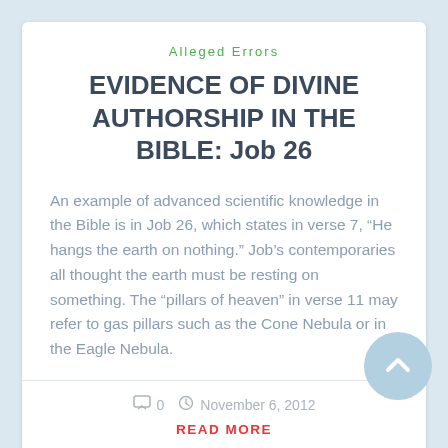Alleged Errors
EVIDENCE OF DIVINE AUTHORSHIP IN THE BIBLE: Job 26
An example of advanced scientific knowledge in the Bible is in Job 26, which states in verse 7, “He hangs the earth on nothing.” Job’s contemporaries all thought the earth must be resting on something. The “pillars of heaven” in verse 11 may refer to gas pillars such as the Cone Nebula or in the Eagle Nebula.
0   November 6, 2012
READ MORE